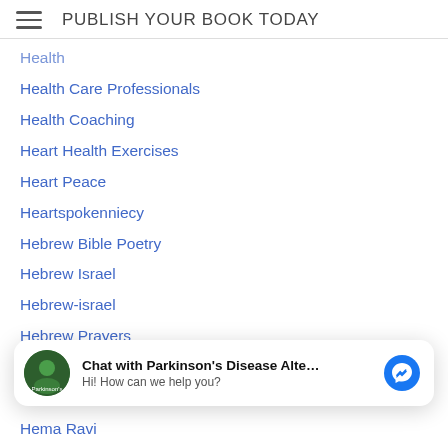PUBLISH YOUR BOOK TODAY
Health
Health Care Professionals
Health Coaching
Heart Health Exercises
Heart Peace
Heartspokenniecy
Hebrew Bible Poetry
Hebrew Israel
Hebrew-israel
Hebrew Prayers
Heiwa-peace
Helene-langevin-md
Hema Ravi
Henry-howard
Chat with Parkinson's Disease Alte... — Hi! How can we help you?
Herbal Tea
Herero (Angela)